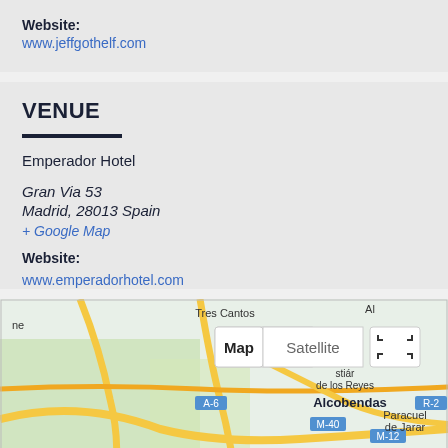Website: www.jeffgothelf.com
VENUE
Emperador Hotel
Gran Via 53
Madrid, 28013 Spain
+ Google Map
Website: www.emperadorhotel.com
[Figure (map): Google Map showing area around Madrid with labels: Tres Cantos, Alcobendas, Paracuelgos de Jarana, A-6, R-2, M-40, M-12, Majadahonda, de los Reyes. Map/Satellite toggle buttons visible.]